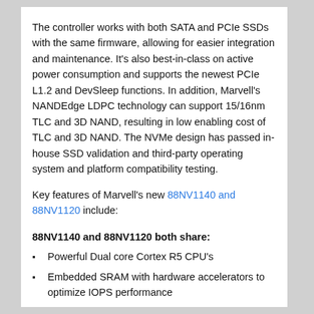The controller works with both SATA and PCIe SSDs with the same firmware, allowing for easier integration and maintenance. It's also best-in-class on active power consumption and supports the newest PCIe L1.2 and DevSleep functions. In addition, Marvell's NANDEdge LDPC technology can support 15/16nm TLC and 3D NAND, resulting in low enabling cost of TLC and 3D NAND. The NVMe design has passed in-house SSD validation and third-party operating system and platform compatibility testing.
Key features of Marvell's new 88NV1140 and 88NV1120 include:
88NV1140 and 88NV1120 both share:
Powerful Dual core Cortex R5 CPU's
Embedded SRAM with hardware accelerators to optimize IOPS performance
ONFI3 and Toggle2 NAND support